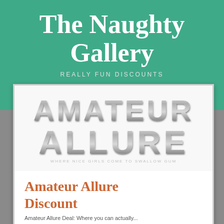The Naughty Gallery
REALLY FUN DISCOUNTS
[Figure (logo): Amateur Allure logo with metallic chrome-style lettering on white background, tagline: WHERE NICE GIRLS COME TO SWALLOW GUM]
Amateur Allure Discount
Amateur Allure Deal: Where you can actually...